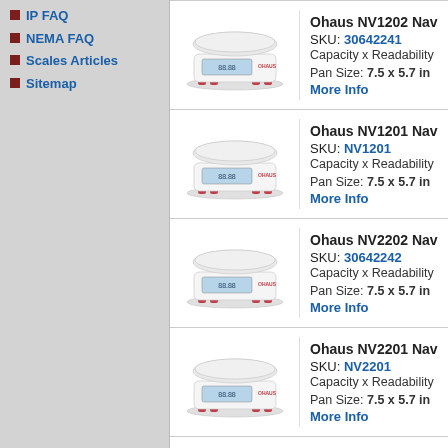IP FAQ
NEMA FAQ
Scales Articles
Sitemap
Ohaus NV1202 Nav... SKU: 30642241 Capacity x Readability... Pan Size: 7.5 x 5.7 in
More Info
Ohaus NV1201 Nav... SKU: NV1201 Capacity x Readability... Pan Size: 7.5 x 5.7 in
More Info
Ohaus NV2202 Nav... SKU: 30642242 Capacity x Readability... Pan Size: 7.5 x 5.7 in
More Info
Ohaus NV2201 Nav... SKU: NV2201 Capacity x Readability... Pan Size: 7.5 x 5.7 in
More Info